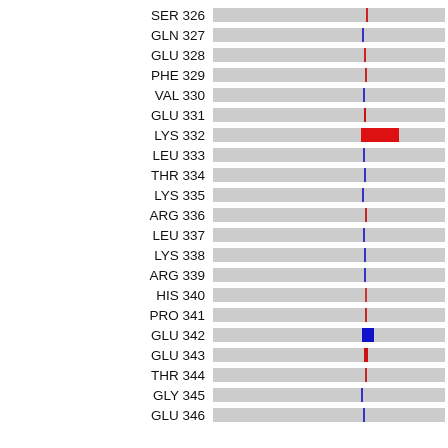[Figure (bar-chart): Horizontal stacked bars for each residue showing grey background bars with colored markers (red or blue lines/blocks) indicating per-residue values. LYS 332 has a large red block; GLU 342 has a medium blue block.]